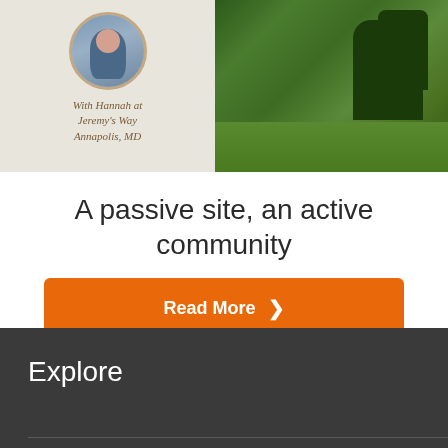[Figure (photo): Composite image: left side shows light cream background with circular portrait photo of a woman and script text reading 'With Hannah at Jeremy's Way, Annapolis, MD'; right side shows an outdoor garden/lawn photo with green grass and trees]
A passive site, an active community
Read More >
Explore